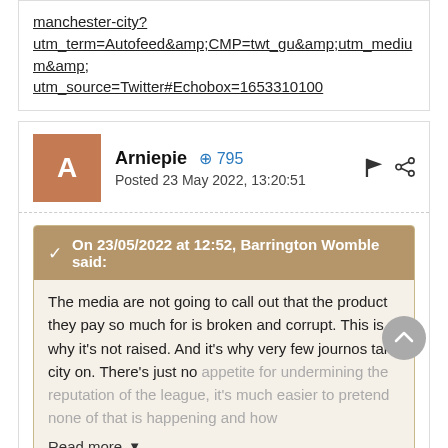manchester-city?
utm_term=Autofeed&amp;CMP=twt_gu&amp;utm_medium&amp;
utm_source=Twitter#Echobox=1653310100
Arniepie +795
Posted 23 May 2022, 13:20:51
On 23/05/2022 at 12:52, Barrington Womble said:
The media are not going to call out that the product they pay so much for is broken and corrupt. This is why it's not raised. And it's why very few journos take city on. There's just no appetite for undermining the reputation of the league, it's much easier to pretend none of that is happening and how
Read more
It's no such he is biased, he is utterly clueless.
You could literally walk into Any pub in Liverpool..and have a more reasoned conversation on footy.